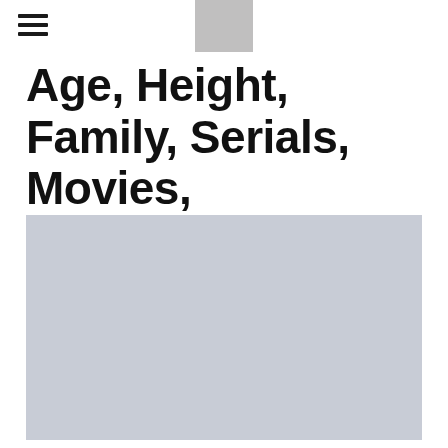[hamburger menu icon] [logo placeholder]
Age, Height, Family, Serials, Movies, Biography, Net Worth & More
[Figure (photo): Large grey placeholder image area for a photo or image related to the biography subject]